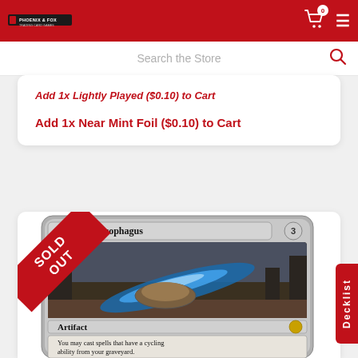Header navigation with logo, cart (0 items), and menu
Search the Store
Add 1x Lightly Played ($0.10) to Cart
Add 1x Near Mint Foil ($0.10) to Cart
[Figure (photo): Magic: The Gathering card 'Abandoned Sarcophagus' - Artifact card with mana cost 3, showing a sarcophagus in a desert landscape with blue energy. Text reads 'You may cast spells that have a cycling ability from your graveyard.' Overlaid with a red 'SOLD OUT' diagonal ribbon banner.]
Decklist